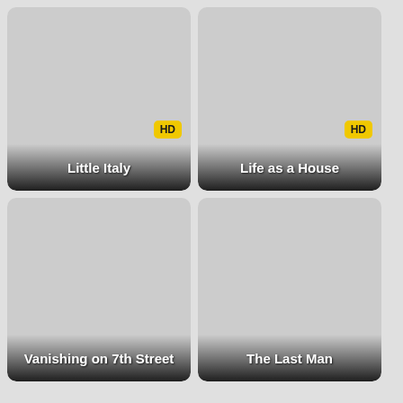[Figure (screenshot): Movie thumbnail card for 'Little Italy' with dark gradient title bar at bottom and HD badge]
[Figure (screenshot): Movie thumbnail card for 'Life as a House' with dark gradient title bar at bottom and HD badge]
[Figure (screenshot): Movie thumbnail card for 'Vanishing on 7th Street' with dark gradient title bar at bottom]
[Figure (screenshot): Movie thumbnail card for 'The Last Man' with dark gradient title bar at bottom]